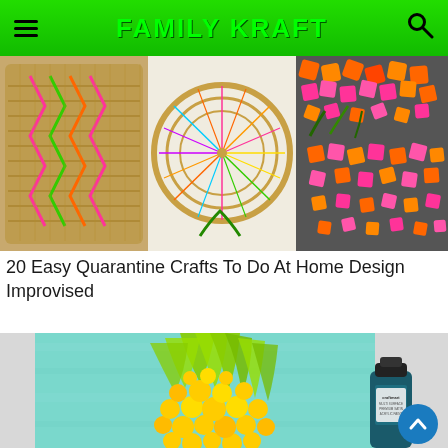FAMILY KRAFT
[Figure (photo): Collage of colorful craft projects including a woven tray with pink and green patterns, a circular wicker frame with colorful yarn, and a flower wreath made of orange and pink paper pieces on a dark background.]
20 Easy Quarantine Crafts To Do At Home Design Improvised
[Figure (photo): A teal/light blue painted canvas featuring a pineapple design with yellow bubble-dot body and green brushstroke leaves, with a bottle of Craftmart multi-surface premium satin acrylic paint in teal color placed beside the canvas, on a light gray background.]